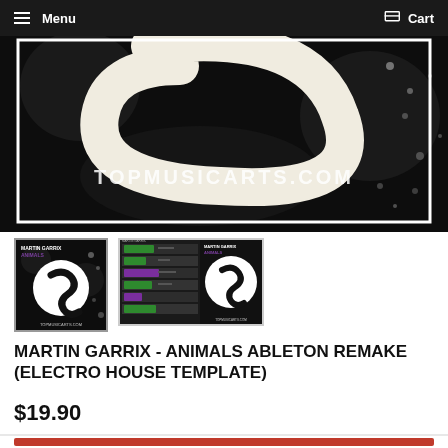Menu   Cart
[Figure (photo): Large hero image of Martin Garrix Animals album art on dark background with TOPMUSICARTS.COM watermark text, showing a stylized Spinnin Records logo on black and white splatter background]
[Figure (photo): Thumbnail 1: Martin Garrix Animals album cover with Spinnin Records S logo on black splatter background, TOPMUSICARTS.COM watermark]
[Figure (screenshot): Thumbnail 2: Martin Garrix Animals Ableton project screenshot showing DAW session alongside album cover]
MARTIN GARRIX - ANIMALS ABLETON REMAKE (ELECTRO HOUSE TEMPLATE)
$19.90